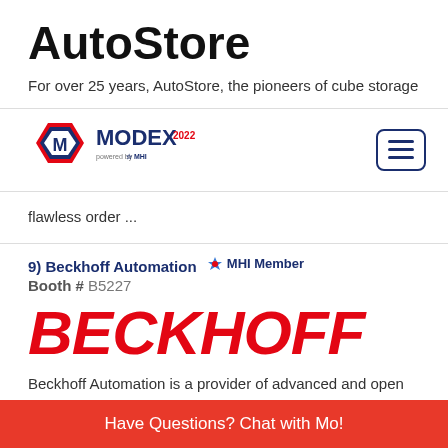AutoStore
For over 25 years, AutoStore, the pioneers of cube storage
[Figure (logo): MODEX 2022 logo with MHI branding and hamburger menu button]
flawless order ...
9) Beckhoff Automation MHI Member Booth # B5227
[Figure (logo): BECKHOFF logo in bold red italic text]
Beckhoff Automation is a provider of advanced and open automation products based on proven industrial technologi... distributi...
Have Questions? Chat with Mo!